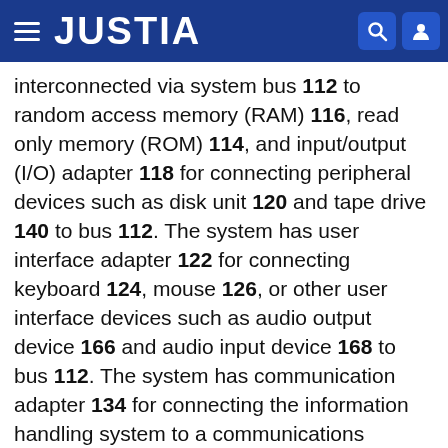JUSTIA
interconnected via system bus 112 to random access memory (RAM) 116, read only memory (ROM) 114, and input/output (I/O) adapter 118 for connecting peripheral devices such as disk unit 120 and tape drive 140 to bus 112. The system has user interface adapter 122 for connecting keyboard 124, mouse 126, or other user interface devices such as audio output device 166 and audio input device 168 to bus 112. The system has communication adapter 134 for connecting the information handling system to a communications network 150, and display adapter 136 for connecting bus 112 to display device 138. Communication adapter 134 may link the system depicted in FIG. 1 with hundreds or even thousands of similar systems, or other devices, such as remote printers, remote servers, or remote storage units. The system depicted in FIG. 1 may be linked to both local area networks (sometimes referred